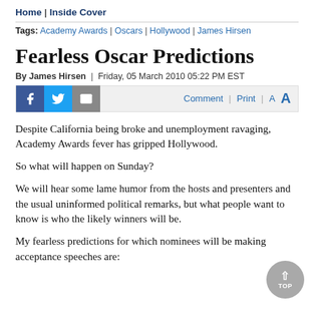Home | Inside Cover
Tags: Academy Awards | Oscars | Hollywood | James Hirsen
Fearless Oscar Predictions
By James Hirsen  |  Friday, 05 March 2010 05:22 PM EST
[Figure (infographic): Social sharing bar with Facebook, Twitter, and email icons on the left; Comment, Print, and font size (A A) controls on the right]
Despite California being broke and unemployment ravaging, Academy Awards fever has gripped Hollywood.
So what will happen on Sunday?
We will hear some lame humor from the hosts and presenters and the usual uninformed political remarks, but what people want to know is who the likely winners will be.
My fearless predictions for which nominees will be making acceptance speeches are: